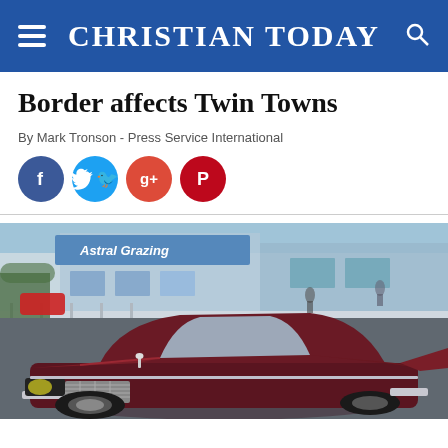CHRISTIAN TODAY
Border affects Twin Towns
By Mark Tronson - Press Service International
[Figure (infographic): Social media sharing icons: Facebook (blue circle, f), Twitter (light blue circle, bird), Google+ (red-orange circle, g+), Pinterest (dark red circle, P)]
[Figure (photo): A classic vintage dark red/maroon American car from the late 1950s parked on a street, front view showing chrome grille and hood ornament. In the background are storefronts including a sign reading 'Astral Grazing' and metal crowd barriers. People visible in background.]